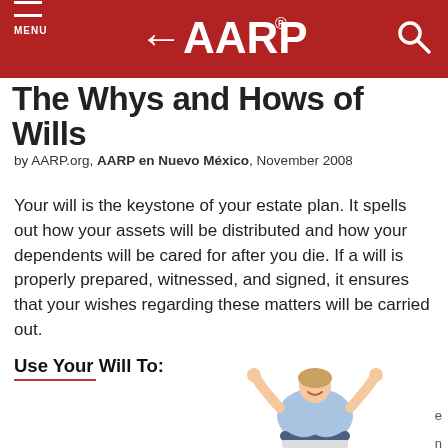AARP
The Whys and Hows of Wills
by AARP.org, AARP en Nuevo México, November 2008
Your will is the keystone of your estate plan. It spells out how your assets will be distributed and how your dependents will be cared for after you die. If a will is properly prepared, witnessed, and signed, it ensures that your wishes regarding these matters will be carried out.
Use Your Will To:
[Figure (photo): Woman sitting cross-legged with arms raised in celebration, smiling, with a laptop in front of her.]